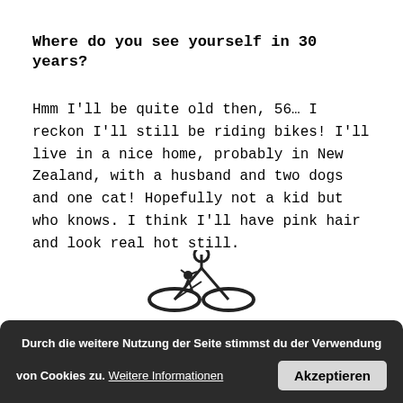Where do you see yourself in 30 years?
Hmm I’ll be quite old then, 56… I reckon I’ll still be riding bikes! I’ll live in a nice home, probably in New Zealand, with a husband and two dogs and one cat! Hopefully not a kid but who knows. I think I’ll have pink hair and look real hot still.
[Figure (screenshot): Cookie consent banner in German with text 'Durch die weitere Nutzung der Seite stimmst du der Verwendung von Cookies zu. Weitere Informationen' and an 'Akzeptieren' button. Below the banner is a partial illustration of a bicycle/person.]